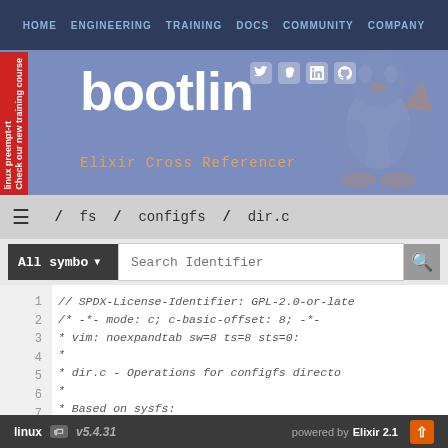[Figure (screenshot): Bootlin website header banner with navigation, red sidebar tab 'linux preempt-rt / Check our new training course', bootlin logo, social media icons, Tux penguin silhouette, and Elixir Cross Referencer subtitle]
HOME  ENGINEERING  TRAINING  DOCS  COMMUNITY  COMPANY
/ fs / configfs / dir.c
All symbo ▼  Search Identifier
1  // SPDX-License-Identifier: GPL-2.0-or-late
2  /* -*- mode: c; c-basic-offset: 8; -*-
3   * vim: noexpandtab sw=8 ts=8 sts=0:
4   *
5   * dir.c - Operations for configfs directo
6   *
7   * Based on sysfs:
8   *
linux  v5.4.31  powered by Elixir 2.1